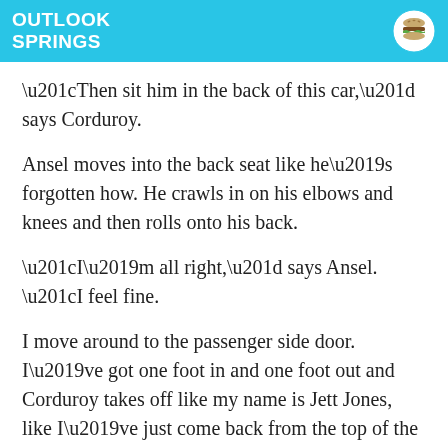OUTLOOK SPRINGS
“Then sit him in the back of this car,” says Corduroy.
Ansel moves into the back seat like he’s forgotten how. He crawls in on his elbows and knees and then rolls onto his back.
“I’m all right,” says Ansel. “I feel fine.
I move around to the passenger side door. I’ve got one foot in and one foot out and Corduroy takes off like my name is Jett Jones, like I’ve just come back from the top of the world and I don’t want to hit bottom.